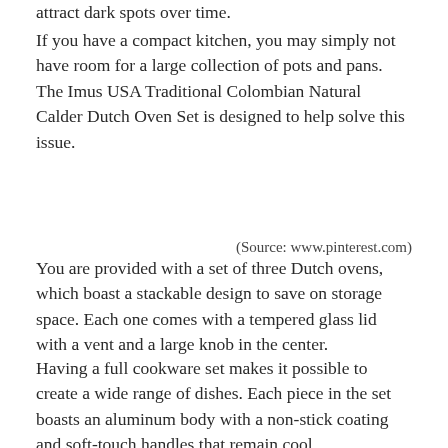attract dark spots over time.
If you have a compact kitchen, you may simply not have room for a large collection of pots and pans. The Imus USA Traditional Colombian Natural Calder Dutch Oven Set is designed to help solve this issue.
(Source: www.pinterest.com)
You are provided with a set of three Dutch ovens, which boast a stackable design to save on storage space. Each one comes with a tempered glass lid with a vent and a large knob in the center.
Having a full cookware set makes it possible to create a wide range of dishes. Each piece in the set boasts an aluminum body with a non-stick coating and soft-touch handles that remain cool.